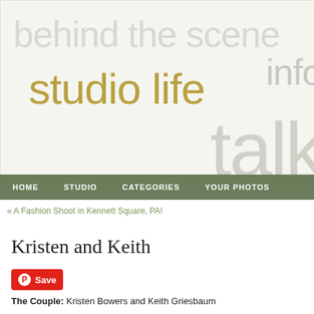[Figure (screenshot): Blog header banner with overlapping text: 'behind the scene', 'studio life', 'info', 'talk' in light gray and olive/gold colors on a light beige background]
HOME   STUDIO   CATEGORIES   YOUR PHOTOS
« A Fashion Shoot in Kennett Square, PA!
Kristen and Keith
[Figure (screenshot): Pinterest Save button — red rounded rectangle with Pinterest logo and 'Save' text]
The Couple: Kristen Bowers and Keith Griesbaum